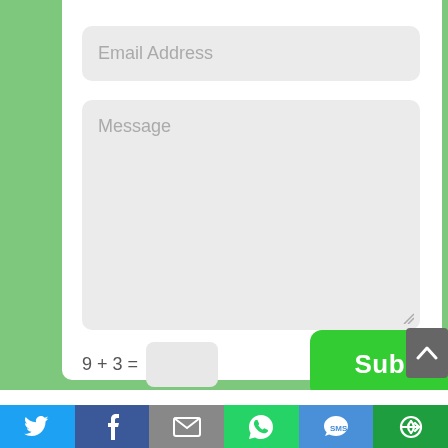[Figure (screenshot): Web contact form UI on green background with email address input field, message textarea, captcha '9 + 3 =', submit button, scroll-up button, and social sharing bar at bottom with Twitter, Facebook, Email, WhatsApp, SMS, and Share icons.]